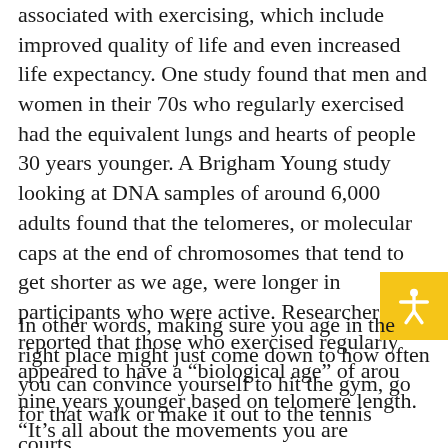associated with exercising, which include improved quality of life and even increased life expectancy. One study found that men and women in their 70s who regularly exercised had the equivalent lungs and hearts of people 30 years younger. A Brigham Young study looking at DNA samples of around 6,000 adults found that the telomeres, or molecular caps at the end of chromosomes that tend to get shorter as we age, were longer in participants who were active. Researchers reported that those who exercised regularly appeared to have a "biological age" of around nine years younger based on telomere length.
In other words, making sure you age in the right place might just come down to how often you can convince yourself to hit the gym, go for that walk or make it out to the tennis courts.
“It’s all about the movements you are performing every